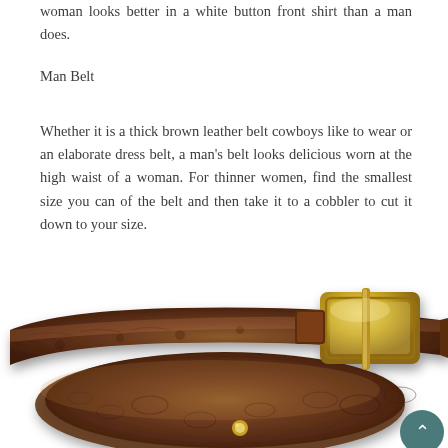woman looks better in a white button front shirt than a man does.
Man Belt
Whether it is a thick brown leather belt cowboys like to wear or an elaborate dress belt, a man's belt looks delicious worn at the high waist of a woman. For thinner women, find the smallest size you can of the belt and then take it to a cobbler to cut it down to your size.
[Figure (photo): A brown crocodile-skin leather belt with a gold rectangular buckle, coiled and photographed on a white background.]